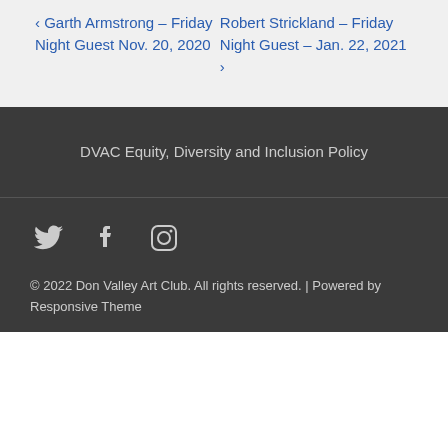‹ Garth Armstrong – Friday Night Guest Nov. 20, 2020
Robert Strickland – Friday Night Guest – Jan. 22, 2021 ›
DVAC Equity, Diversity and Inclusion Policy
[Figure (illustration): Social media icons: Twitter bird, Facebook f, Instagram camera]
© 2022 Don Valley Art Club. All rights reserved. | Powered by Responsive Theme